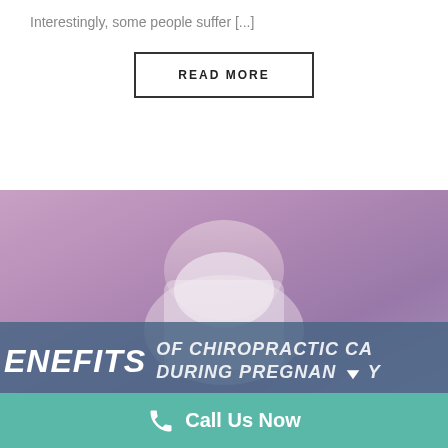Interestingly, some people suffer [...]
READ MORE
[Figure (photo): A pregnant woman in a white top with a semi-transparent blue-grey overlay banner at the bottom reading 'BENEFITS OF CHIROPRACTIC CARE DURING PREGNANCY']
Call Us Now